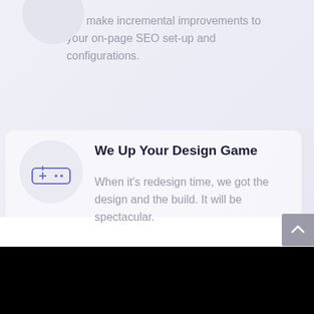We make incremental improvements to your on-page SEO set-up and configurations.
[Figure (illustration): Circular icon with a gamepad/controller icon inside a light gray circle]
We Up Your Design Game
When it’s redesign time, we got the design and the build. It will be spectacular.
[Figure (other): Gray scroll-to-top button with upward chevron arrow, positioned at right edge]
[Figure (photo): Black section at the bottom of the page]